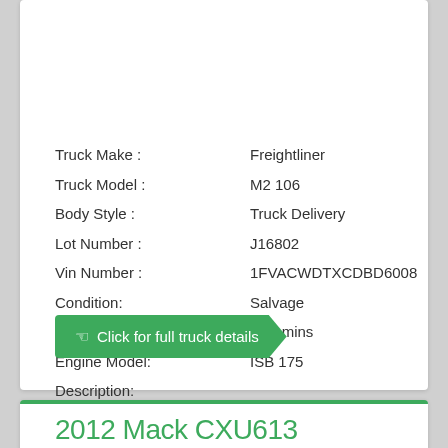Truck Make : Freightliner
Truck Model : M2 106
Body Style : Truck Delivery
Lot Number : J16802
Vin Number : 1FVACWDTXCDBD6008
Condition: Salvage
Engine Make: Cummins
Engine Model: ISB 175
Description:
Click for full truck details
2012 Mack CXU613